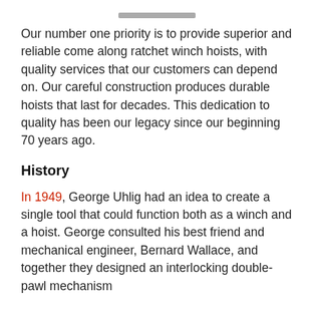Our number one priority is to provide superior and reliable come along ratchet winch hoists, with quality services that our customers can depend on. Our careful construction produces durable hoists that last for decades. This dedication to quality has been our legacy since our beginning 70 years ago.
History
In 1949, George Uhlig had an idea to create a single tool that could function both as a winch and a hoist. George consulted his best friend and mechanical engineer, Bernard Wallace, and together they designed an interlocking double-pawl mechanism